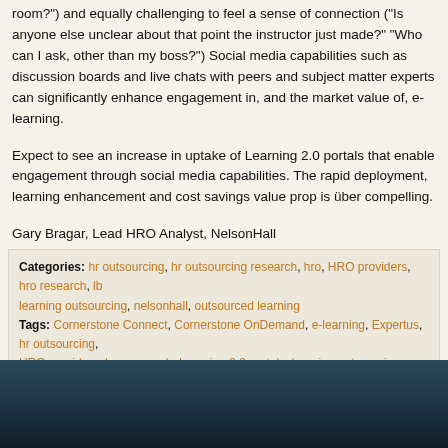room?”) and equally challenging to feel a sense of connection (“Is anyone else unclear about that point the instructor just made?” “Who can I ask, other than my boss?”) Social media capabilities such as discussion boards and live chats with peers and subject matter experts can significantly enhance engagement in, and the market value of, e-learning.
Expect to see an increase in uptake of Learning 2.0 portals that enable engagement through social media capabilities. The rapid deployment, learning enhancement and cost savings value prop is über compelling.
Gary Bragar, Lead HRO Analyst, NelsonHall
Categories: hr outsourcing, hr outsourcing research, hro, HRO providers, hro research, lb learning outsourcing, nelsonhall, outsourced learning
Tags: Cornerstone Connect, Cornerstone OnDemand, e-learning, Expertus, hr outsourcing, HRO providers, hro research, Learning 2.0 portals, learning outsourcing, learning outsourcing providers, nelsonhall, outsourced learning, Plateau’s Talent Gateway
Comments: Be the first to comment